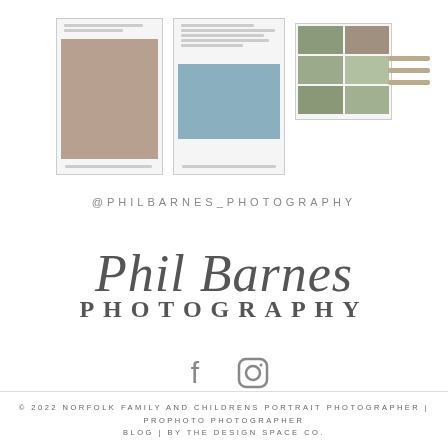[Figure (screenshot): Three website screenshots showing photography portfolio pages with photos of people and family]
@PHILBARNES_PHOTOGRAPHY
[Figure (logo): Phil Barnes Photography logo with script and serif typography]
[Figure (other): Facebook and Instagram social media icons]
© 2022 NORFOLK FAMILY AND CHILDRENS PORTRAIT PHOTOGRAPHER | PROPHOTO PHOTOGRAPHER BLOG | BY THE DESIGN SPACE CO.